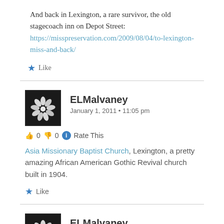And back in Lexington, a rare survivor, the old stagecoach inn on Depot Street: https://misspreservation.com/2009/08/04/to-lexington-miss-and-back/
Like
ELMalvaney
January 1, 2011 • 11:05 pm
👍 0 👎 0 ℹ Rate This
Asia Missionary Baptist Church, Lexington, a pretty amazing African American Gothic Revival church built in 1904.
Like
ELMalvaney
January 1, 2011 • 11:15 pm